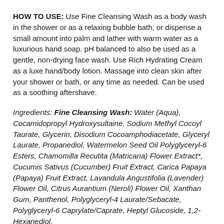HOW TO USE: Use Fine Cleansing Wash as a body wash in the shower or as a relaxing bubble bath, or dispense a small amount into palm and lather with warm water as a luxurious hand soap. pH balanced to also be used as a gentle, non-drying face wash. Use Rich Hydrating Cream as a luxe hand/body lotion. Massage into clean skin after your shower or bath, or any time as needed. Can be used as a soothing aftershave.
Ingredients: Fine Cleansing Wash: Water (Aqua), Cocamidopropyl Hydroxysultaine, Sodium Methyl Cocoyl Taurate, Glycerin, Disodium Cocoamphodiacetate, Glyceryl Laurate, Propanediol, Watermelon Seed Oil Polyglyceryl-6 Esters, Chamomilla Recutita (Matricaria) Flower Extract*, Cucumis Sativus (Cucumber) Fruit Extract, Carica Papaya (Papaya) Fruit Extract, Lavandula Angustifolia (Lavender) Flower Oil, Citrus Aurantium (Neroli) Flower Oil, Xanthan Gum, Panthenol, Polyglyceryl-4 Laurate/Sebacate, Polyglyceryl-6 Caprylate/Caprate, Heptyl Glucoside, 1,2-Hexanediol,